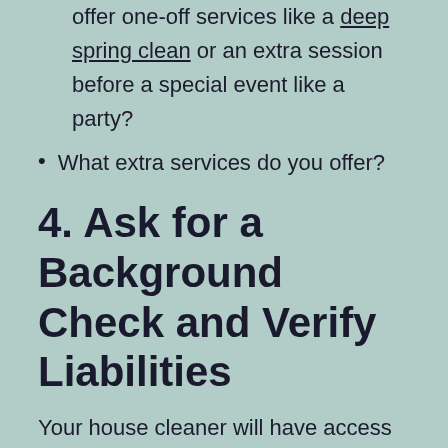offer one-off services like a deep spring clean or an extra session before a special event like a party?
What extra services do you offer?
4. Ask for a Background Check and Verify Liabilities
Your house cleaner will have access to your personal space and be near your family, so ensure they are trustworthy and responsible. Ask if the cleaning company does background